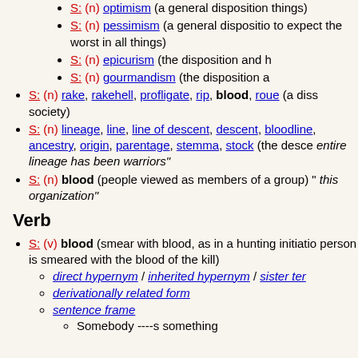S: (n) optimism (a general disposition to things)
S: (n) pessimism (a general disposition to expect the worst in all things)
S: (n) epicurism (the disposition and h...)
S: (n) gourmandism (the disposition a...)
S: (n) rake, rakehell, profligate, rip, blood, roue (a diss... society)
S: (n) lineage, line, line of descent, descent, bloodline, ancestry, origin, parentage, stemma, stock (the descent... entire lineage has been warriors)
S: (n) blood (people viewed as members of a group) ... this organization
Verb
S: (v) blood (smear with blood, as in a hunting initiation... person is smeared with the blood of the kill)
direct hypernym / inherited hypernym / sister term...
derivationally related form
sentence frame
Somebody ----s something